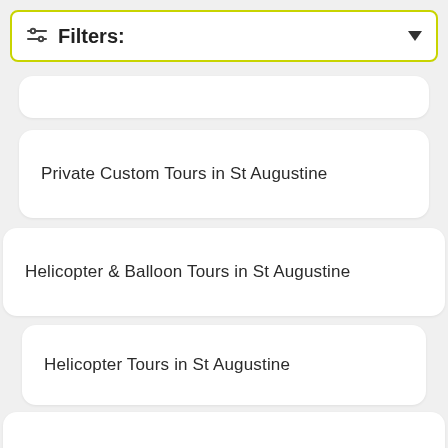[Figure (screenshot): Filters dropdown bar with sliders icon and dropdown arrow, yellow-green border]
Private Custom Tours in St Augustine
Helicopter & Balloon Tours in St Augustine
Helicopter Tours in St Augustine
Classes & Workshops in St Augustine
Luxury Special Occasions in St Augustine